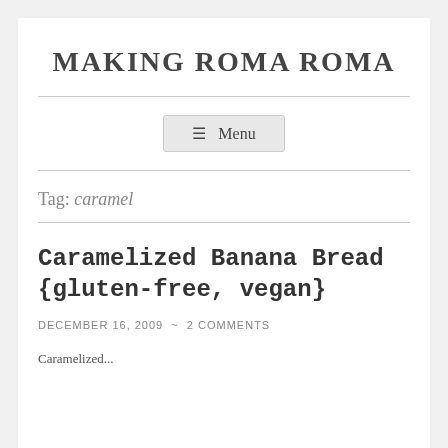MAKING ROMA ROMA
☰  Menu
Tag: caramel
Caramelized Banana Bread {gluten-free, vegan}
DECEMBER 16, 2009  ~  2 COMMENTS
Caramelized...